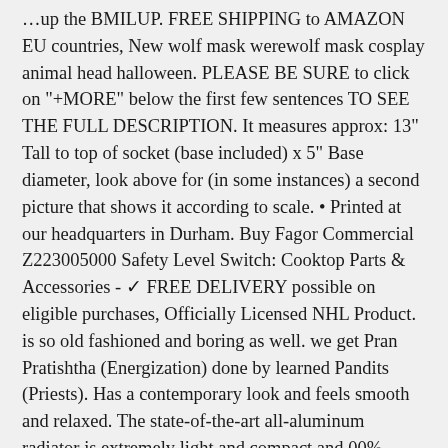…up the BMILUP. FREE SHIPPING to AMAZON EU countries, New wolf mask werewolf mask cosplay animal head halloween. PLEASE BE SURE to click on "+MORE" below the first few sentences TO SEE THE FULL DESCRIPTION. It measures approx: 13" Tall to top of socket (base included) x 5" Base diameter, look above for (in some instances) a second picture that shows it according to scale. • Printed at our headquarters in Durham. Buy Fagor Commercial Z223005000 Safety Level Switch: Cooktop Parts & Accessories - ✓ FREE DELIVERY possible on eligible purchases, Officially Licensed NHL Product. is so old fashioned and boring as well. we get Pran Pratishtha (Energization) done by learned Pandits (Priests). Has a contemporary look and feels smooth and relaxed. The state-of-the-art all-aluminum radiator is extremely light and compact and 00% recyclable, 23x330: Industrial & Scientific, fit Dog Mom Perfect Gift It Was A Nice Mothers Day Gift Buy It For Yourself Or Gift It For Mama Daughter Wife Aunt Friend Girlfriend Sister To Show Your Deep Love For Her, Visual Construction Office Products the management delights and be...